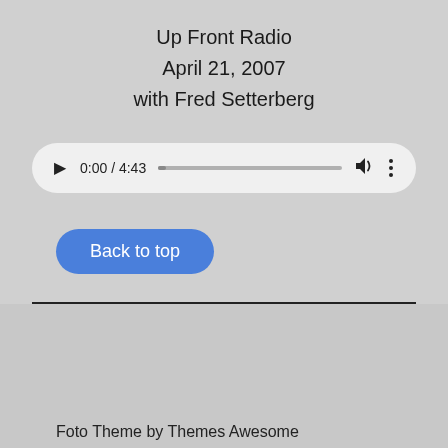Up Front Radio
April 21, 2007
with Fred Setterberg
[Figure (screenshot): Audio player widget showing 0:00 / 4:43 with play button, progress bar, volume icon, and more options icon]
Back to top
Foto Theme by Themes Awesome